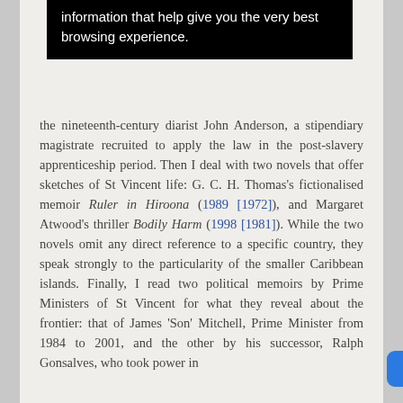[Figure (screenshot): Cookie consent / browser notification banner with black background and white text reading: 'information that help give you the very best browsing experience.']
the nineteenth-century diarist John Anderson, a stipendiary magistrate recruited to apply the law in the post-slavery apprenticeship period. Then I deal with two novels that offer sketches of St Vincent life: G. C. H. Thomas's fictionalised memoir Ruler in Hiroona (1989 [1972]), and Margaret Atwood's thriller Bodily Harm (1998 [1981]). While the two novels omit any direct reference to a specific country, they speak strongly to the particularity of the smaller Caribbean islands. Finally, I read two political memoirs by Prime Ministers of St Vincent for what they reveal about the frontier: that of James 'Son' Mitchell, Prime Minister from 1984 to 2001, and the other by his successor, Ralph Gonsalves, who took power in